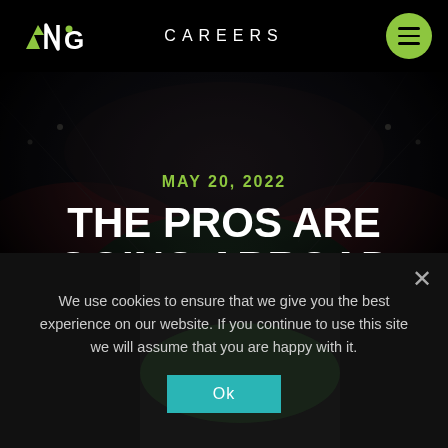ACG  CAREERS
[Figure (photo): Aerial view of a lit football stadium at night with red seating and green pitch, used as hero background]
MAY 20, 2022
THE PROS ARE GOING ABROAD
We use cookies to ensure that we give you the best experience on our website. If you continue to use this site we will assume that you are happy with it.
Ok